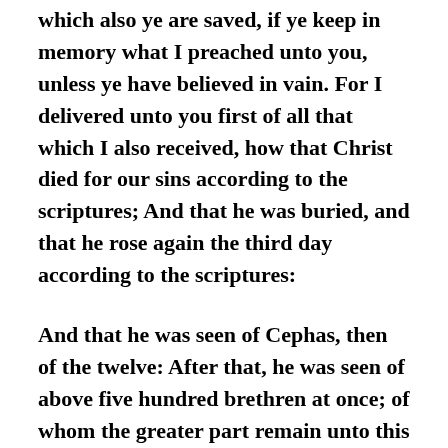which also ye are saved, if ye keep in memory what I preached unto you, unless ye have believed in vain. For I delivered unto you first of all that which I also received, how that Christ died for our sins according to the scriptures; And that he was buried, and that he rose again the third day according to the scriptures:
And that he was seen of Cephas, then of the twelve: After that, he was seen of above five hundred brethren at once; of whom the greater part remain unto this present, but some are fallen asleep. After that, he was seen of James; then of all the apostles. And last of all he was seen of me also, as of one born out of